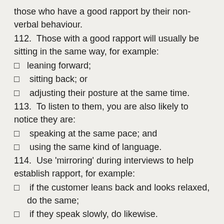those who have a good rapport by their non-verbal behaviour.
112.  Those with a good rapport will usually be sitting in the same way, for example:
leaning forward;
sitting back; or
adjusting their posture at the same time.
113.  To listen to them, you are also likely to notice they are:
speaking at the same pace; and
using the same kind of language.
114.  Use 'mirroring' during interviews to help establish rapport, for example:
if the customer leans back and looks relaxed, do the same;
if they speak slowly, do likewise.
115.  There will, of course, be times when 'mirroring' is unhelpful.  For